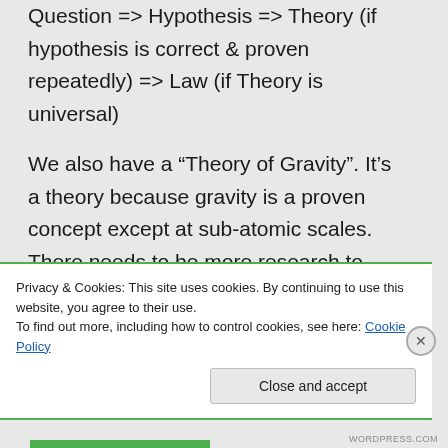Question => Hypothesis => Theory (if hypothesis is correct & proven repeatedly) => Law (if Theory is universal)
We also have a “Theory of Gravity”. It’s a theory because gravity is a proven concept except at sub-atomic scales. There needs to be more research to provide a theory of everything that applies universally. It is a “Law of Gravity”
Privacy & Cookies: This site uses cookies. By continuing to use this website, you agree to their use.
To find out more, including how to control cookies, see here: Cookie Policy